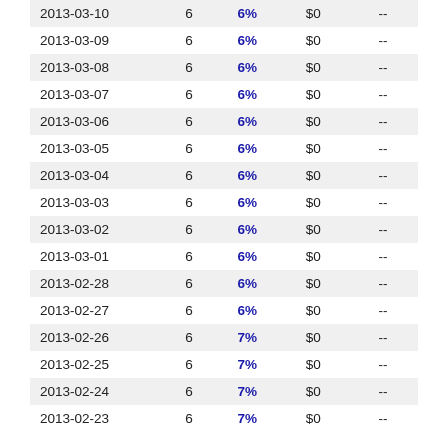| 2013-03-10 | 6 | 6% | $0 | -- |
| 2013-03-09 | 6 | 6% | $0 | -- |
| 2013-03-08 | 6 | 6% | $0 | -- |
| 2013-03-07 | 6 | 6% | $0 | -- |
| 2013-03-06 | 6 | 6% | $0 | -- |
| 2013-03-05 | 6 | 6% | $0 | -- |
| 2013-03-04 | 6 | 6% | $0 | -- |
| 2013-03-03 | 6 | 6% | $0 | -- |
| 2013-03-02 | 6 | 6% | $0 | -- |
| 2013-03-01 | 6 | 6% | $0 | -- |
| 2013-02-28 | 6 | 6% | $0 | -- |
| 2013-02-27 | 6 | 6% | $0 | -- |
| 2013-02-26 | 6 | 7% | $0 | -- |
| 2013-02-25 | 6 | 7% | $0 | -- |
| 2013-02-24 | 6 | 7% | $0 | -- |
| 2013-02-23 | 6 | 7% | $0 | -- |